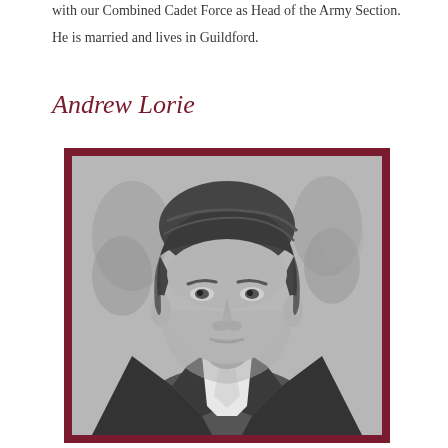with our Combined Cadet Force as Head of the Army Section. He is married and lives in Guildford.
Andrew Lorie
[Figure (photo): Black and white portrait photograph of Andrew Lorie, a middle-aged man with dark swept-back hair, wearing a dark suit jacket with a light-colored tie, against a blurred background. The photo is framed with a dark red/maroon border.]